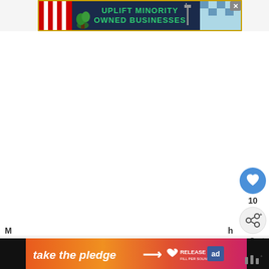[Figure (illustration): Advertisement banner: 'UPLIFT MINORITY OWNED BUSINESSES' on dark navy background with red and white striped left section (storefront awning), plant decoration, street lamp, and light blue checkered right section. Gold border. Close button (X) at top right.]
[Figure (screenshot): Large white empty content area below the advertisement banner.]
10
[Figure (infographic): Sidebar UI buttons: blue circular heart/like button, number '10' below it, gray circular share button with share icon, and a more-options widget icon at bottom.]
[Figure (illustration): Bottom banner ad: 'take the pledge' text with arrow in orange-to-pink gradient, followed by a heart icon, 'RELEASE' logo text, and a blue badge with 'ad' text. Black background bar on left and right sides. Small widget icon on far right.]